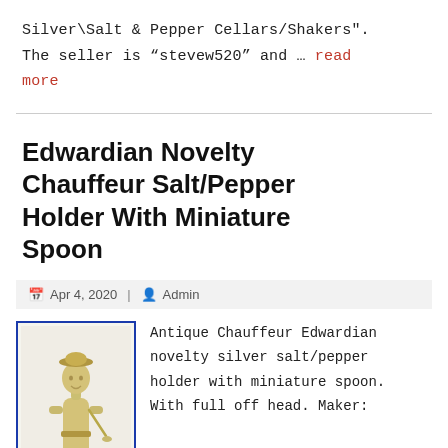Silver\Salt & Pepper Cellars/Shakers". The seller is “stevew520” and ... read more
Edwardian Novelty Chauffeur Salt/Pepper Holder With Miniature Spoon
Apr 4, 2020 | Admin
[Figure (photo): Antique silver chauffeur-shaped novelty salt/pepper holder with miniature spoon, shown standing upright against a white background, with a blue border frame.]
Antique Chauffeur Edwardian novelty silver salt/pepper holder with miniature spoon. With full off head. Maker:
Cornelius Desormeaux and Francis